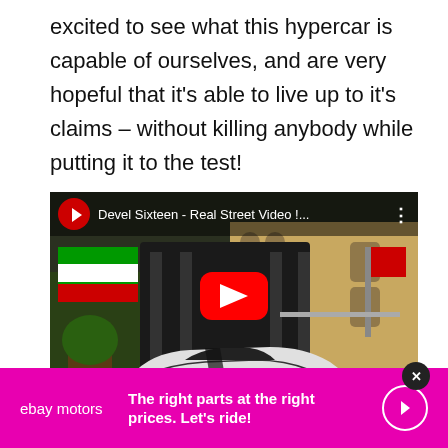excited to see what this hypercar is capable of ourselves, and are very hopeful that it's able to live up to it's claims – without killing anybody while putting it to the test!
[Figure (screenshot): YouTube video thumbnail showing 'Devel Sixteen - Real Street Video !...' with a white hypercar on a street with UAE flags, a play button overlay, and a red YouTube play button in the center.]
[Figure (infographic): eBay Motors advertisement banner with magenta background. Shows 'ebay motors' logo on left, bold white text 'The right parts at the right prices. Let's ride!' in center, and a circular arrow button on the right.]